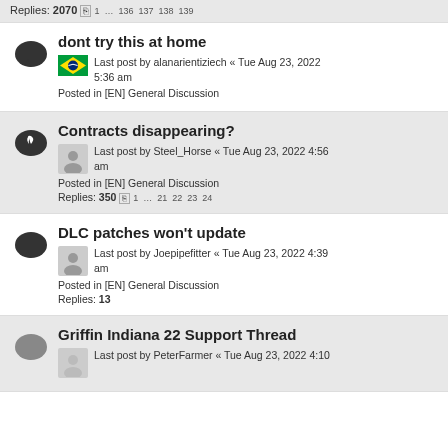Replies: 2070  1 … 136 137 138 139
dont try this at home
Last post by alanarientiziech « Tue Aug 23, 2022 5:36 am
Posted in [EN] General Discussion
Contracts disappearing?
Last post by Steel_Horse « Tue Aug 23, 2022 4:56 am
Posted in [EN] General Discussion
Replies: 350  1 … 21 22 23 24
DLC patches won't update
Last post by Joepipefitter « Tue Aug 23, 2022 4:39 am
Posted in [EN] General Discussion
Replies: 13
Griffin Indiana 22 Support Thread
Last post by PeterFarmer « Tue Aug 23, 2022 4:10